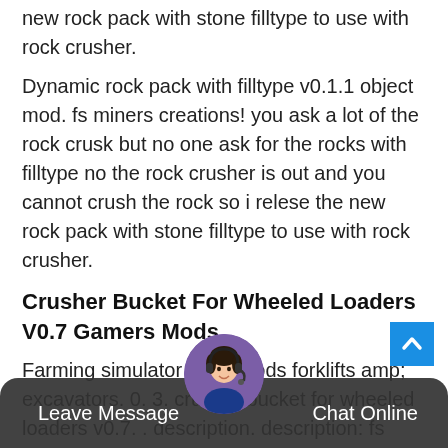new rock pack with stone filltype to use with rock crusher.
Dynamic rock pack with filltype v0.1.1 object mod. fs miners creations! you ask a lot of the rock crusk but no one ask for the rocks with filltype no the rock crusher is out and you cannot crush the rock so i relese the new rock pack with stone filltype to use with rock crusher.
Crusher Bucket For Wheeled Loaders V0.7 Gamers Mods
Farming simulator 2019 mods forklifts amp; excavators. 0. 3. crusher bucket for wheeled loaders v0.7. . description. description: fs miner's creations! new implement for the wheeled loaders , rock crusher bucket! to open press o key. the crushing start automatically when you are ove ra tipper. work
Leave Message
Chat Online